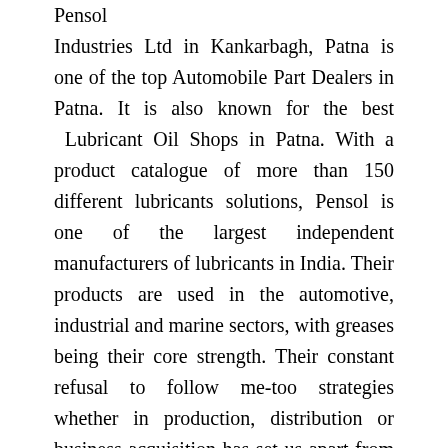Pensol Industries Ltd in Kankarbagh, Patna is one of the top Automobile Part Dealers in Patna. It is also known for the best Lubricant Oil Shops in Patna. With a product catalogue of more than 150 different lubricants solutions, Pensol is one of the largest independent manufacturers of lubricants in India. Their products are used in the automotive, industrial and marine sectors, with greases being their core strength. Their constant refusal to follow me-too strategies whether in production, distribution or business acquisition has set us apart from the